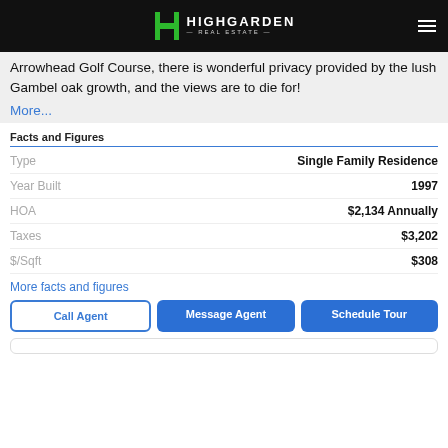Highgarden Real Estate
Arrowhead Golf Course, there is wonderful privacy provided by the lush Gambel oak growth, and the views are to die for! More...
Facts and Figures
| Label | Value |
| --- | --- |
| Type | Single Family Residence |
| Year Built | 1997 |
| HOA | $2,134 Annually |
| Taxes | $3,202 |
| $/Sqft | $308 |
More facts and figures